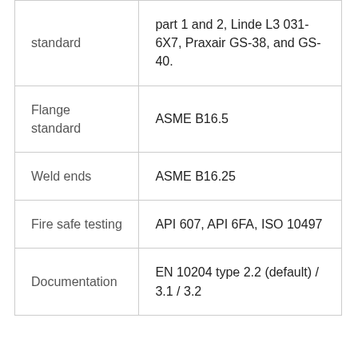| Property | Value |
| --- | --- |
| standard | part 1 and 2, Linde L3 031-6X7, Praxair GS-38, and GS-40. |
| Flange standard | ASME B16.5 |
| Weld ends | ASME B16.25 |
| Fire safe testing | API 607, API 6FA, ISO 10497 |
| Documentation | EN 10204 type 2.2 (default) / 3.1 / 3.2 |